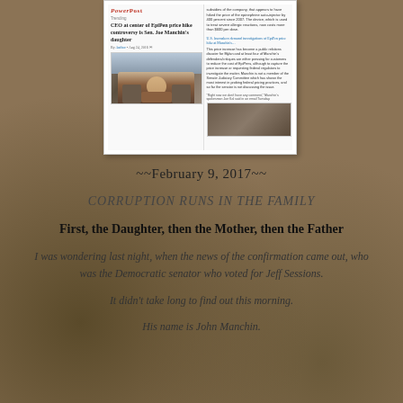[Figure (screenshot): Washington Post PowerPost article screenshot: 'CEO at center of EpiPen price hike controversy is Sen. Joe Manchin's daughter' with photo of senator speaking to press]
~~February 9, 2017~~
CORRUPTION RUNS IN THE FAMILY
First, the Daughter, then the Mother, then the Father
I was wondering last night, when the news of the confirmation came out, who was the Democratic senator who voted for Jeff Sessions.
It didn't take long to find out this morning.
His name is John Manchin.